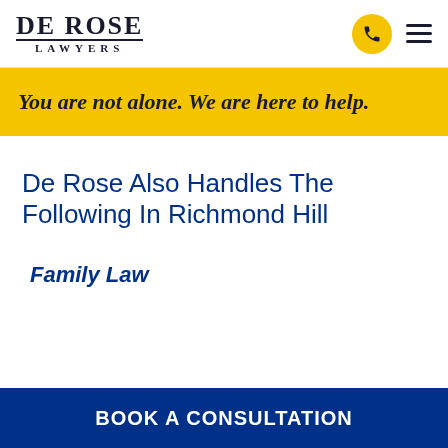De Rose Lawyers
You are not alone. We are here to help.
De Rose Also Handles The Following In Richmond Hill
Family Law
BOOK A CONSULTATION